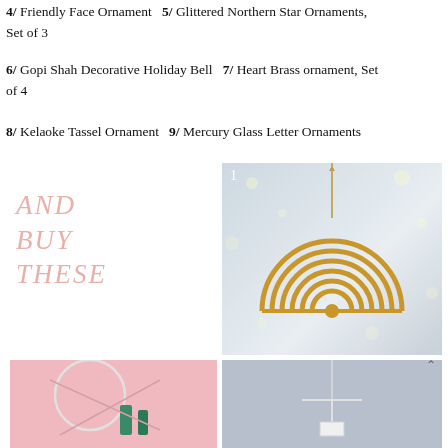4/ Friendly Face Ornament   5/ Glittered Northern Star Ornaments, Set of 3
6/ Gopi Shah Decorative Holiday Bell   7/ Heart Brass ornament, Set of 4
8/ Kelaoke Tassel Ornament   9/ Mercury Glass Letter Ornaments
AND BUY THESE
[Figure (photo): Photo labeled 1: A gold geometric rainbow arc ornament hanging against a bokeh light background]
[Figure (photo): Photo labeled 2: Pink background with colorful ornaments including blue bottle brush trees]
[Figure (photo): Photo labeled 3: Grey background with a minimalist hanging ornament]